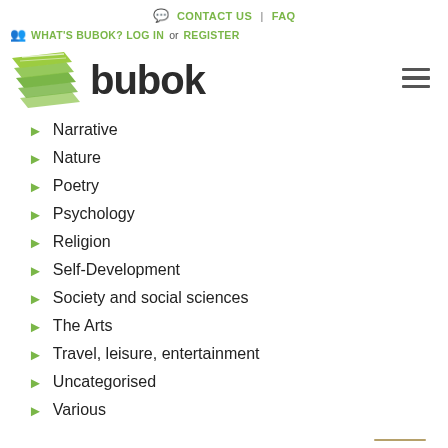CONTACT US | FAQ
WHAT'S BUBOK? LOG IN or REGISTER
[Figure (logo): Bubok logo with stacked green pages icon and bold dark 'bubok' text]
Narrative
Nature
Poetry
Psychology
Religion
Self-Development
Society and social sciences
The Arts
Travel, leisure, entertainment
Uncategorised
Various